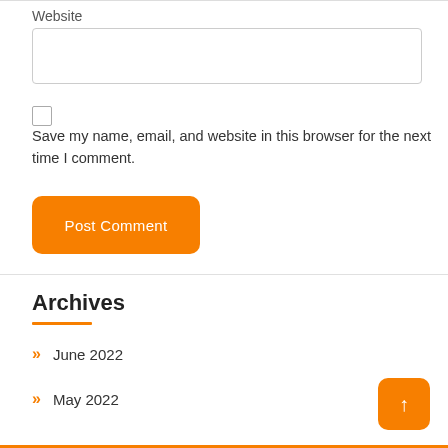Website
Save my name, email, and website in this browser for the next time I comment.
Post Comment
Archives
» June 2022
» May 2022